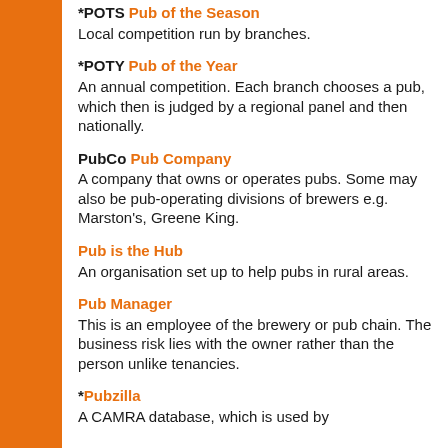*POTS Pub of the Season
Local competition run by branches.
*POTY Pub of the Year
An annual competition. Each branch chooses a pub, which then is judged by a regional panel and then nationally.
PubCo Pub Company
A company that owns or operates pubs. Some may also be pub-operating divisions of brewers e.g. Marston's, Greene King.
Pub is the Hub
An organisation set up to help pubs in rural areas.
Pub Manager
This is an employee of the brewery or pub chain. The business risk lies with the owner rather than the person unlike tenancies.
*Pubzilla
A CAMRA database, which is used by